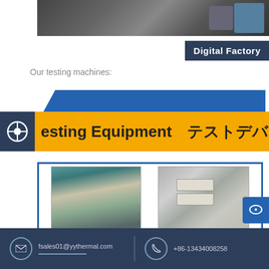[Figure (photo): Top photo strip showing industrial/factory equipment in dark tones]
Digital Factory
Our testing machines:
[Figure (photo): Blue trapezoid shape header with orange banner showing 'esting Equipment テストデバイス' with a soccer/target icon on dark background]
[Figure (photo): Two testing equipment photos: left shows a teal-colored electronic measuring instrument, right shows a frame/rack testing setup with documents attached]
fsales01@yythermal.com   +86-13434008258